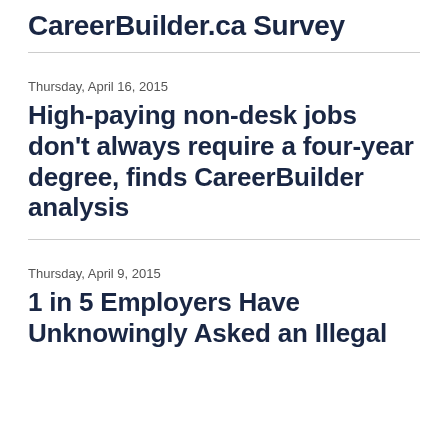CareerBuilder.ca Survey
Thursday, April 16, 2015
High-paying non-desk jobs don't always require a four-year degree, finds CareerBuilder analysis
Thursday, April 9, 2015
1 in 5 Employers Have Unknowingly Asked an Illegal